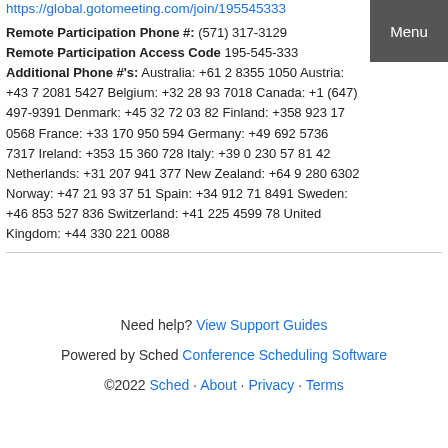https://global.gotomeeting.com/join/195545333
Remote Participation Phone #: (571) 317-3129
Remote Participation Access Code 195-545-333
Additional Phone #'s: Australia: +61 2 8355 1050 Austria: +43 7 2081 5427 Belgium: +32 28 93 7018 Canada: +1 (647) 497-9391 Denmark: +45 32 72 03 82 Finland: +358 923 17 0568 France: +33 170 950 594 Germany: +49 692 5736 7317 Ireland: +353 15 360 728 Italy: +39 0 230 57 81 42 Netherlands: +31 207 941 377 New Zealand: +64 9 280 6302 Norway: +47 21 93 37 51 Spain: +34 912 71 8491 Sweden: +46 853 527 836 Switzerland: +41 225 4599 78 United Kingdom: +44 330 221 0088
Need help? View Support Guides
Powered by Sched Conference Scheduling Software
©2022 Sched · About · Privacy · Terms